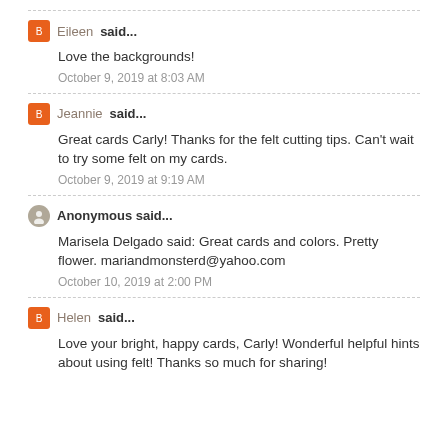Eileen said...
Love the backgrounds!
October 9, 2019 at 8:03 AM
Jeannie said...
Great cards Carly! Thanks for the felt cutting tips. Can't wait to try some felt on my cards.
October 9, 2019 at 9:19 AM
Anonymous said...
Marisela Delgado said: Great cards and colors. Pretty flower. mariandmonsterd@yahoo.com
October 10, 2019 at 2:00 PM
Helen said...
Love your bright, happy cards, Carly! Wonderful helpful hints about using felt! Thanks so much for sharing!